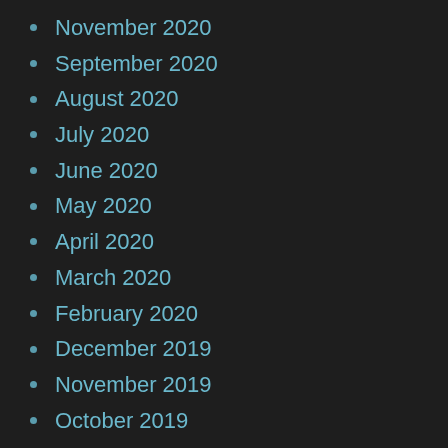November 2020
September 2020
August 2020
July 2020
June 2020
May 2020
April 2020
March 2020
February 2020
December 2019
November 2019
October 2019
August 2019
July 2019
May 2019
April 2019